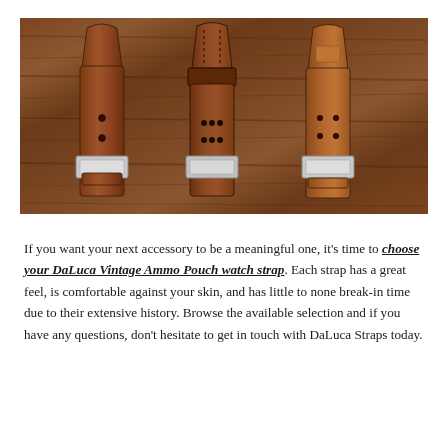[Figure (photo): Three brown leather watch straps (DaLuca Vintage Ammo Pouch style) laid flat on a dark wooden surface, showing the tapered ends with holes and varying stitching styles.]
If you want your next accessory to be a meaningful one, it's time to choose your DaLuca Vintage Ammo Pouch watch strap. Each strap has a great feel, is comfortable against your skin, and has little to none break-in time due to their extensive history. Browse the available selection and if you have any questions, don't hesitate to get in touch with DaLuca Straps today.